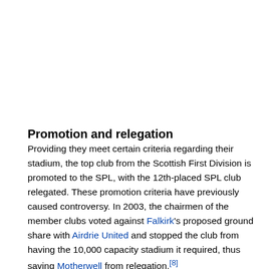Promotion and relegation
Providing they meet certain criteria regarding their stadium, the top club from the Scottish First Division is promoted to the SPL, with the 12th-placed SPL club relegated. These promotion criteria have previously caused controversy. In 2003, the chairmen of the member clubs voted against Falkirk's proposed ground share with Airdrie United and stopped the club from having the 10,000 capacity stadium it required, thus saving Motherwell from relegation.[8]
The same situation nearly materialised in 2004. After several votes and discussion, including threats of court cases from Partick Thistle,